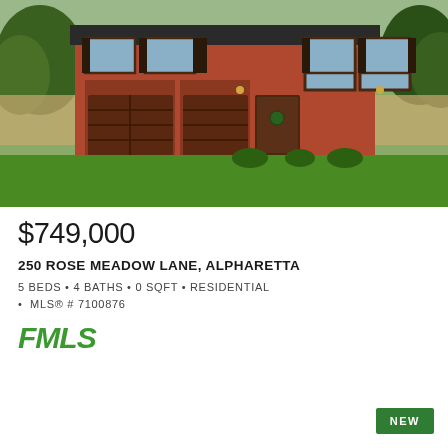[Figure (photo): Exterior photo of a two-story red brick residential house with double garage, large green lawn, and driveway, surrounded by trees]
$749,000
250 ROSE MEADOW LANE, ALPHARETTA
5 BEDS • 4 BATHS • 0 SQFT • RESIDENTIAL
• MLS® # 7100876
[Figure (logo): FMLS logo in green italic bold text]
NEW